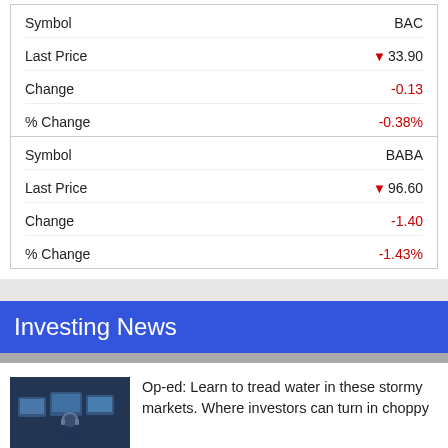| Field | Value |
| --- | --- |
| Symbol | BAC |
| Last Price | ▼33.90 |
| Change | -0.13 |
| % Change | -0.38% |
| Symbol | BABA |
| Last Price | ▼96.60 |
| Change | -1.40 |
| % Change | -1.43% |
Investing News
Op-ed: Learn to tread water in these stormy markets. Where investors can turn in choppy